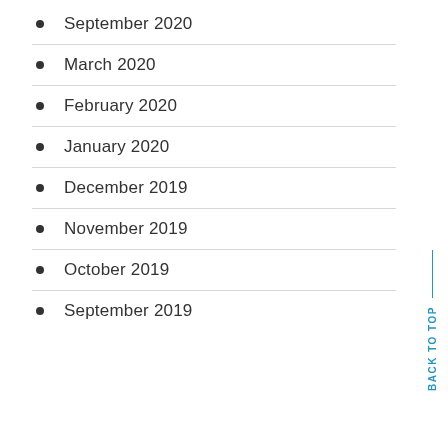September 2020
March 2020
February 2020
January 2020
December 2019
November 2019
October 2019
September 2019